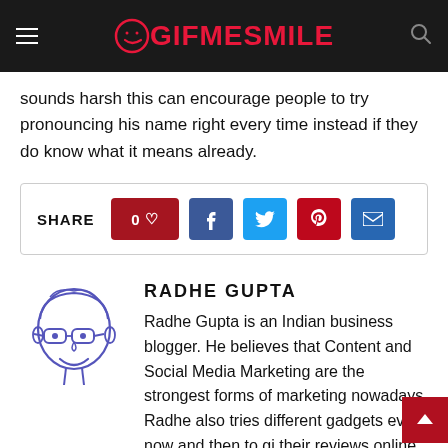GIFMESMILE
sounds harsh  this can encourage people to try pronouncing his name right every time instead if they do know what it means already.
[Figure (infographic): Share bar with like button showing 0 likes and social media share buttons: Facebook, Twitter, Pinterest, Email]
[Figure (illustration): Hand-drawn avatar illustration of Radhe Gupta — cartoon face with glasses, blue outline style]
RADHE GUPTA
Radhe Gupta is an Indian business blogger. He believes that Content and Social Media Marketing are the strongest forms of marketing nowadays. Radhe also tries different gadgets every now and then to gi their reviews online. You can connect with him...